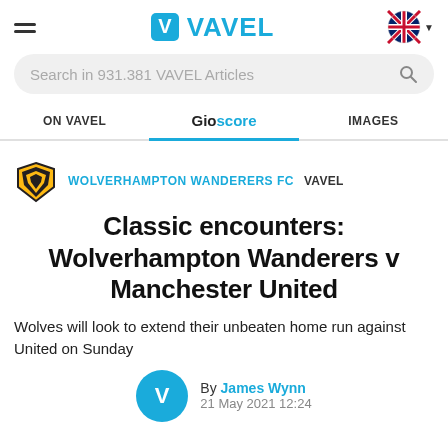VAVEL
Search in 931.381 VAVEL Articles
ON VAVEL  Gioscore  IMAGES
WOLVERHAMPTON WANDERERS FC VAVEL
Classic encounters: Wolverhampton Wanderers v Manchester United
Wolves will look to extend their unbeaten home run against United on Sunday
By James Wynn 21 May 2021 12:24